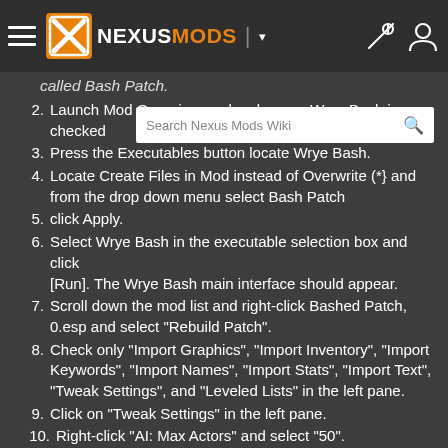NexusMods header navigation bar with logo, search, tools and user icons
called Bash Patch.
2. Launch Mod Organizer and make sure Wrye Bash is checked
3. Press the Executables button locate Wrye Bash.
4. Locate Create Files in Mod instead of Overwrite (*} and from the drop down menu select Bash Patch
5. click Apply.
6. Select Wrye Bash in the executable selection box and click [Run]. The Wrye Bash main interface should appear.
7. Scroll down the mod list and right-click Bashed Patch, 0.esp and select "Rebuild Patch".
8. Check only "Import Graphics", "Import Inventory", "Import Keywords", "Import Names", "Import Stats", "Import Text", "Tweak Settings", and "Leveled Lists" in the left pane.
9. Click on "Tweak Settings" in the left pane.
10. Right-click "AI: Max Actors" and select "50".
11. Right-click "Arrow: Speed" and select "1.4".
12. Right-click "Combat: Max Actors" and select "30".